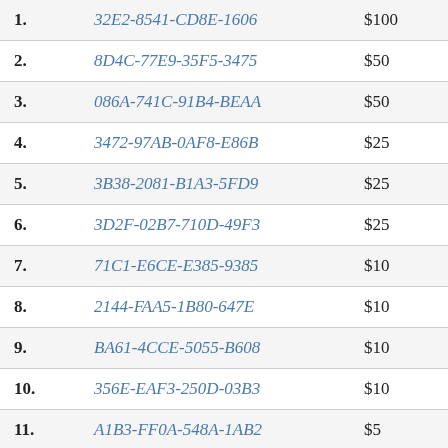| 1. | 32E2-8541-CD8E-1606 | $100 |
| 2. | 8D4C-77E9-35F5-3475 | $50 |
| 3. | 086A-741C-91B4-BEAA | $50 |
| 4. | 3472-97AB-0AF8-E86B | $25 |
| 5. | 3B38-2081-B1A3-5FD9 | $25 |
| 6. | 3D2F-02B7-710D-49F3 | $25 |
| 7. | 71C1-E6CE-E385-9385 | $10 |
| 8. | 2144-FAA5-1B80-647E | $10 |
| 9. | BA61-4CCE-5055-B608 | $10 |
| 10. | 356E-EAF3-250D-03B3 | $10 |
| 11. | A1B3-FF0A-548A-1AB2 | $5 |
| 12. | 70B8-666E-1FDE-72BB | $5 |
| 13. | B725-B0EE-E8EE-C0E5 | $5 |